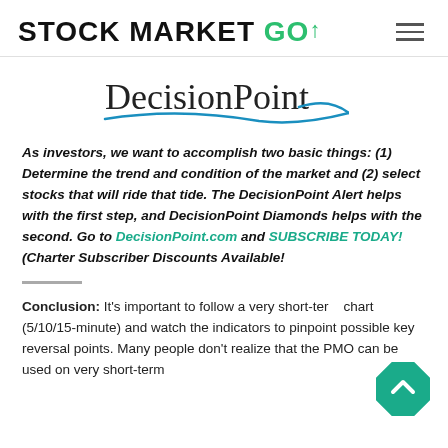STOCK MARKET GO
[Figure (logo): DecisionPoint logo with swoosh underline]
As investors, we want to accomplish two basic things: (1) Determine the trend and condition of the market and (2) select stocks that will ride that tide. The DecisionPoint Alert helps with the first step, and DecisionPoint Diamonds helps with the second. Go to DecisionPoint.com and SUBSCRIBE TODAY! (Charter Subscriber Discounts Available!
Conclusion: It's important to follow a very short-term chart (5/10/15-minute) and watch the indicators to pinpoint possible key reversal points. Many people don't realize that the PMO can be used on very short-term